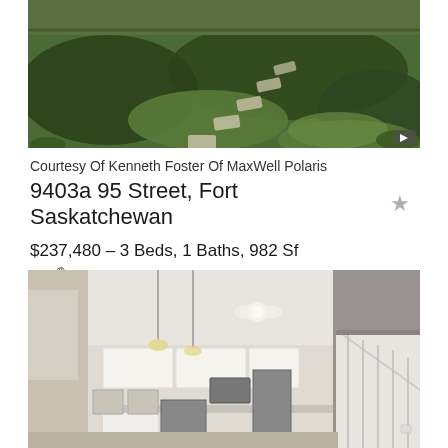[Figure (photo): Outdoor backyard/side yard photo showing green lawn with stone stepping path, shadows from trees, wooden fence in background]
Courtesy Of Kenneth Foster Of MaxWell Polaris
9403a 95 Street, Fort Saskatchewan
$237,480 – 3 Beds, 1 Baths, 982 Sf
MLS® # E4309864
[Figure (photo): Interior photo of open-concept kitchen and living area with white cabinets, stainless steel appliances, gray walls, pendant lights, and staircase railing]